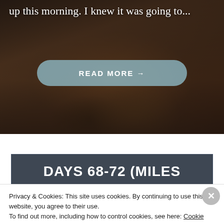[Figure (photo): Background photo of a person hiking on rocky terrain, dark earthy tones]
up this morning. I knew it was going to...
READ MORE →
[Figure (photo): Background photo of mountain landscape with overcast sky]
DAYS 68-72 (MILES
Privacy & Cookies: This site uses cookies. By continuing to use this website, you agree to their use.
To find out more, including how to control cookies, see here: Cookie Policy
Close and accept